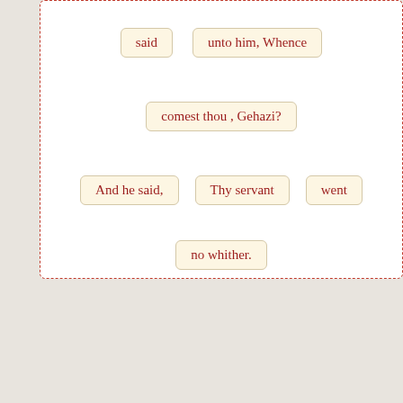[Figure (other): Interactive scripture word-chip display showing words of 2 Kings 5:25 arranged in rows on a white dashed-border panel: 'said', 'unto him, Whence', 'comest thou , Gehazi?', 'And he said,', 'Thy servant', 'went', 'no whither.']
Other Translations for 2 Kings 5:25
View / Hide